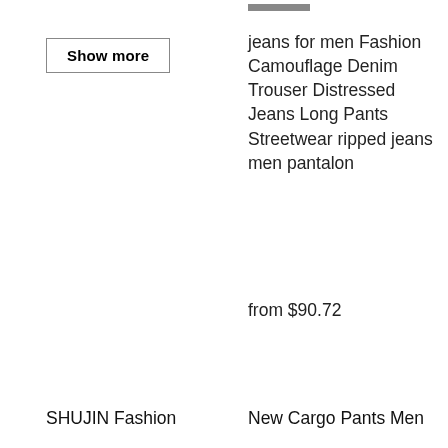Show more
jeans for men Fashion Camouflage Denim Trouser Distressed Jeans Long Pants Streetwear ripped jeans men pantalon
from $90.72
SHUJIN Fashion
New Cargo Pants Men